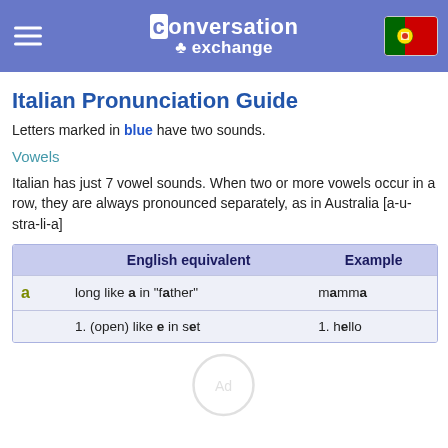Conversation Exchange
Italian Pronunciation Guide
Letters marked in blue have two sounds.
Vowels
Italian has just 7 vowel sounds. When two or more vowels occur in a row, they are always pronounced separately, as in Australia [a-u-stra-li-a]
|  | English equivalent | Example |
| --- | --- | --- |
| a | long like a in "father" | mamma |
| e | 1. (open) like e in set | 1. hello |